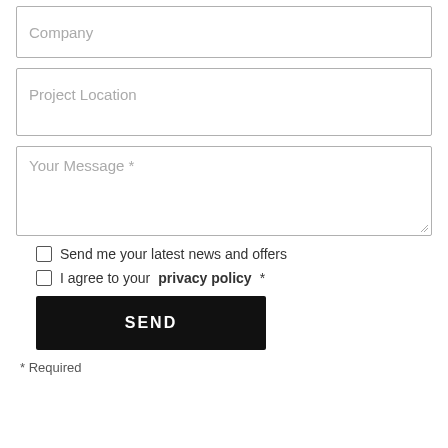Company
Project Location
Your Message *
Send me your latest news and offers
I agree to your privacy policy *
SEND
* Required